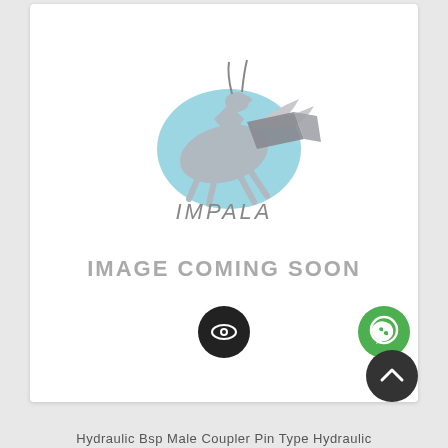[Figure (logo): Impala brand logo with running antelope and blue circular swoosh element, text 'IMPALA' below in italic grey letters]
IMAGE COMING SOON
[Figure (other): WhatsApp icon button (green circle with white phone handset)]
[Figure (other): Eye/view icon button (black circle with white eye symbol)]
[Figure (other): Scroll to top button (dark circle with white chevron up)]
Hydraulic Bsp Male Coupler Pin Type Hydraulic